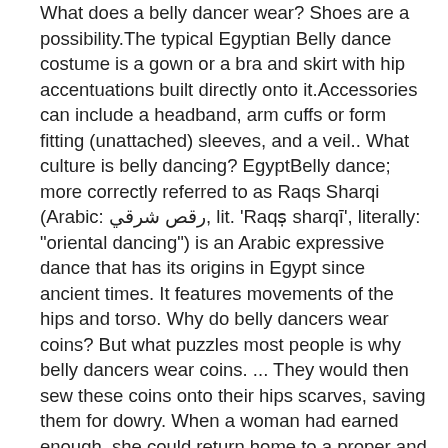What does a belly dancer wear? Shoes are a possibility.The typical Egyptian Belly dance costume is a gown or a bra and skirt with hip accentuations built directly onto it.Accessories can include a headband, arm cuffs or form fitting (unattached) sleeves, and a veil.. What culture is belly dancing? EgyptBelly dance; more correctly referred to as Raqs Sharqi (Arabic: رقص شرقي, lit. 'Raqṣ sharqī', literally: "oriental dancing") is an Arabic expressive dance that has its origins in Egypt since ancient times. It features movements of the hips and torso. Why do belly dancers wear coins? But what puzzles most people is why belly dancers wear coins. ... They would then sew these coins onto their hips scarves, saving them for dowry. When a woman had earned enough, she could return home to a proper and happy marriage and give up dancing. Who was the first belly dancer? the